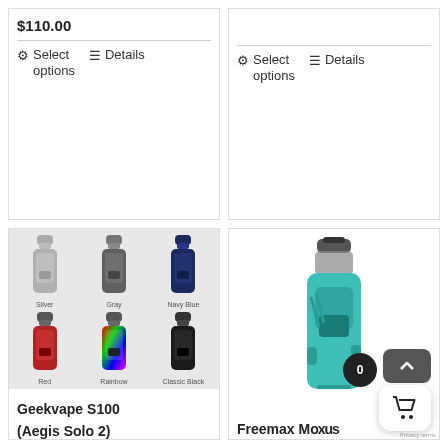$110.00
Select options
Details
Select options
Details
[Figure (photo): Geekvape S100 Aegis Solo 2 vape kit in 6 color variants: Silver, Gray, Navy Blue, Red, Rainbow, Classic Black]
Geekvape S100 (Aegis Solo 2)
[Figure (photo): Freemax Moxus Solo Kit vape device in teal/green color]
Freemax Moxus Solo Kit
$100.00